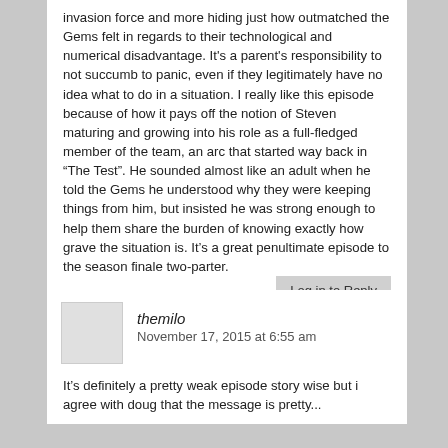invasion force and more hiding just how outmatched the Gems felt in regards to their technological and numerical disadvantage. It's a parent's responsibility to not succumb to panic, even if they legitimately have no idea what to do in a situation. I really like this episode because of how it pays off the notion of Steven maturing and growing into his role as a full-fledged member of the team, an arc that started way back in “The Test”. He sounded almost like an adult when he told the Gems he understood why they were keeping things from him, but insisted he was strong enough to help them share the burden of knowing exactly how grave the situation is. It’s a great penultimate episode to the season finale two-parter.
Log in to Reply
themilo
November 17, 2015 at 6:55 am
It’s definitely a pretty weak episode story wise but i agree with doug that the message is pretty...